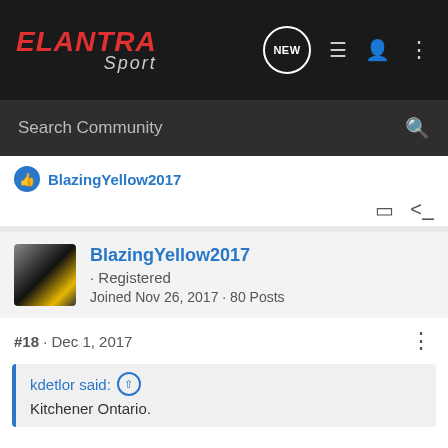ELANTRA Sport — community forum header with search bar
BlazingYellow2017
BlazingYellow2017 · Registered
Joined Nov 26, 2017 · 80 Posts
#18 · Dec 1, 2017
kdetlor said:
Kitchener Ontario.
I'm in Kitchener often... I'll keep my eyes open for you and say hi if I see you!... ?